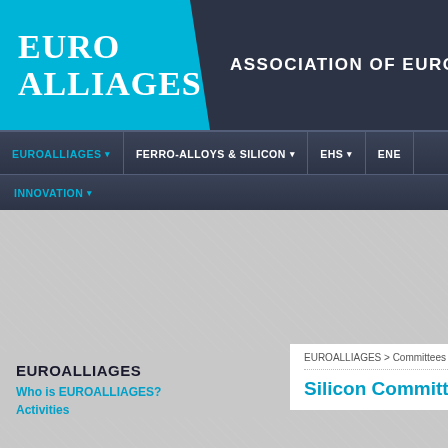[Figure (logo): EuroAlliages logo with cyan background and white text]
ASSOCIATION OF EUROPEAN FERR
EUROALLIAGES ▾   FERRO-ALLOYS & SILICON ▾   EHS ▾   ENE
INNOVATION ▾
EUROALLIAGES
Who is EUROALLIAGES?
Activities
EUROALLIAGES > Committees > Silico
Silicon Committee